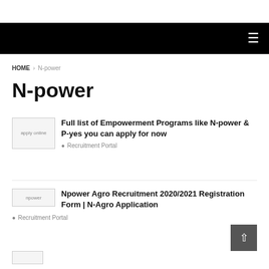≡
HOME › N-power
N-power
[Figure (photo): Thumbnail image labelled 'apply online']
Full list of Empowerment Programs like N-power & P-yes you can apply for now
Recruitment Portal
[Figure (photo): Thumbnail image labelled 'npower']
Npower Agro Recruitment 2020/2021 Registration Form | N-Agro Application
Recruitment Portal